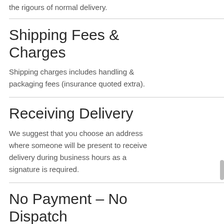the rigours of normal delivery.
Shipping Fees & Charges
Shipping charges includes handling & packaging fees (insurance quoted extra).
Receiving Delivery
We suggest that you choose an address where someone will be present to receive delivery during business hours as a signature is required.
No Payment – No Dispatch
All orders are despatched from Australia